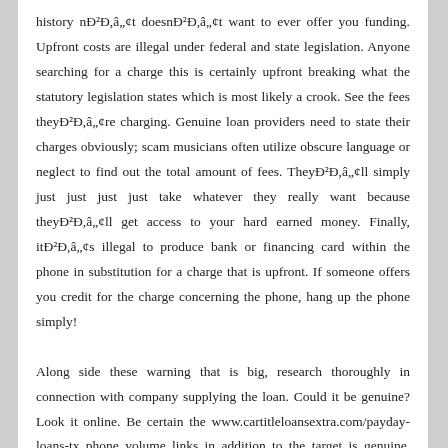history nÐ²Ð,â„¢t doesnÐ²Ð,â„¢t want to ever offer you funding. Upfront costs are illegal under federal and state legislation. Anyone searching for a charge this is certainly upfront breaking what the statutory legislation states which is most likely a crook. See the fees theyÐ²Ð,â„¢re charging. Genuine loan providers need to state their charges obviously; scam musicians often utilize obscure language or neglect to find out the total amount of fees. TheyÐ²Ð,â„¢ll simply just just just just take whatever they really want because theyÐ²Ð,â„¢ll get access to your hard earned money. Finally, itÐ²Ð,â„¢s illegal to produce bank or financing card within the phone in substitution for a charge that is upfront. If someone offers you credit for the charge concerning the phone, hang up the phone simply!
Along side these warning that is big, research thoroughly in connection with company supplying the loan. Could it be genuine? Look it online. Be certain the www.cartitleloansextra.com/payday-loans-tx phone volume links in addition to the target is genuine. Look